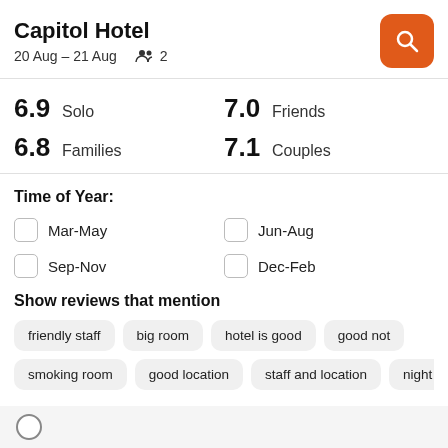Capitol Hotel
20 Aug – 21 Aug  2
6.9 Solo   7.0 Friends   6.8 Families   7.1 Couples
Time of Year:
Mar-May
Jun-Aug
Sep-Nov
Dec-Feb
Show reviews that mention
friendly staff
big room
hotel is good
good not
smoking room
good location
staff and location
night c